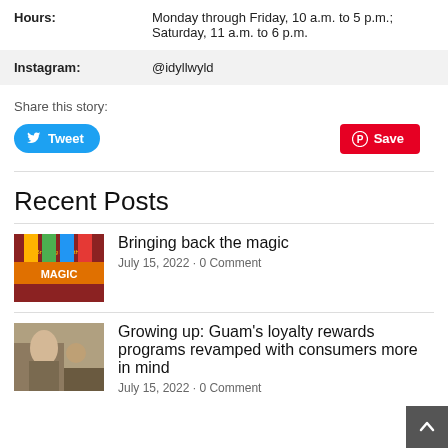| Hours: | Monday through Friday, 10 a.m. to 5 p.m.; Saturday, 11 a.m. to 6 p.m. |
| Instagram: | @idyllwyld |
Share this story:
Tweet
Save
Recent Posts
Bringing back the magic
July 15, 2022 · 0 Comment
Growing up: Guam's loyalty rewards programs revamped with consumers more in mind
July 15, 2022 · 0 Comment